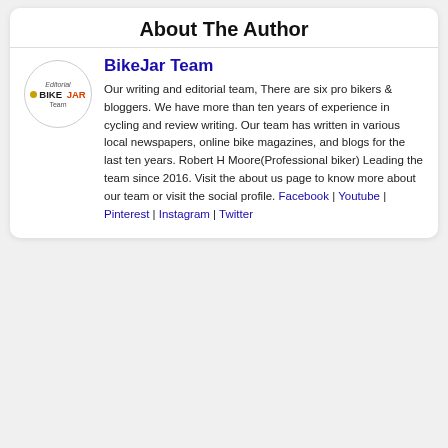About The Author
[Figure (logo): BikeJar Team circular logo with 'Editorial BIKE JAR Team' text]
BikeJar Team
Our writing and editorial team, There are six pro bikers & bloggers. We have more than ten years of experience in cycling and review writing. Our team has written in various local newspapers, online bike magazines, and blogs for the last ten years. Robert H Moore(Professional biker) Leading the team since 2016. Visit the about us page to know more about our team or visit the social profile. Facebook | Youtube | Pinterest | Instagram | Twitter